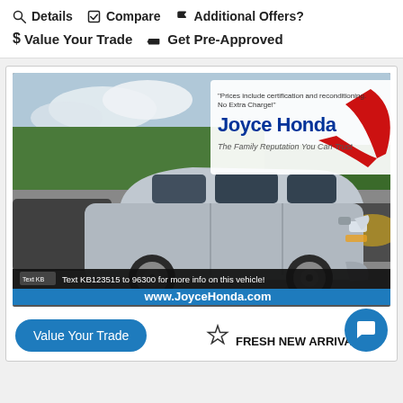Details
Compare
Additional Offers?
Value Your Trade
Get Pre-Approved
[Figure (photo): Joyce Honda dealership advertisement showing a silver Honda Odyssey minivan in a parking lot. The image includes the Joyce Honda logo, text 'Prices include certification and reconditioning. No Extra Charge!', 'The Family Reputation You Can Trust', a text-to-info bar 'Text KB123515 to 96300 for more info on this vehicle!', and website URL www.JoyceHonda.com]
Value Your Trade
FRESH NEW ARRIVAL